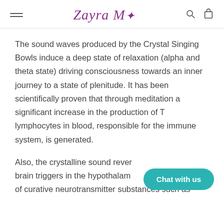Zayra Mo
The sound waves produced by the Crystal Singing Bowls induce a deep state of relaxation (alpha and theta state) driving consciousness towards an inner journey to a state of plenitude. It has been scientifically proven that through meditation a significant increase in the production of T lymphocytes in blood, responsible for the immune system, is generated.
Also, the crystalline sound rever... brain triggers in the hypothalame... of curative neurotransmitter substances such as